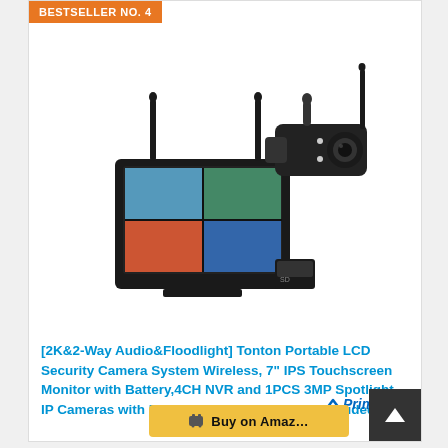BESTSELLER NO. 4
[Figure (photo): Product photo of Tonton portable LCD security camera system with 7-inch monitor and wireless bullet camera]
[2K&2-Way Audio&Floodlight] Tonton Portable LCD Security Camera System Wireless, 7" IPS Touchscreen Monitor with Battery,4CH NVR and 1PCS 3MP Spotlight IP Cameras with PIR Sensor,32GB SD Card Included
[Figure (logo): Amazon Prime logo with checkmark]
Buy on Amazon